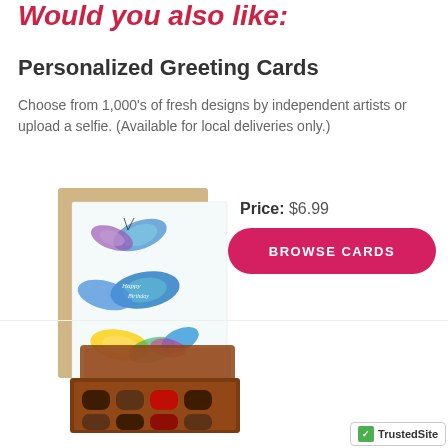Would you also like:
Personalized Greeting Cards
Choose from 1,000's of fresh designs by independent artists or upload a selfie. (Available for local deliveries only.)
Price: $6.99
[Figure (photo): A greeting card with a kraft envelope showing colorful illustrated butterflies and 'Happy Birthday' text]
[Figure (other): BROWSE CARDS button — pink/red rounded rectangle button]
[Figure (photo): Box of chocolates with lid open showing assorted chocolates]
[Figure (photo): Small plush teddy bear]
[Figure (logo): TrustedSite badge with green checkmark]